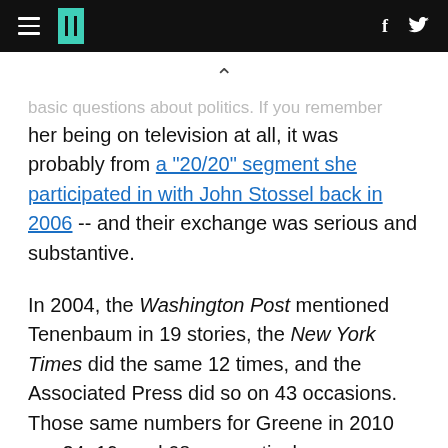HuffPost header with hamburger menu, logo, and social icons (f, twitter)
basic questions about politics. If you remember her being on television at all, it was probably from a "20/20" segment she participated in with John Stossel back in 2006 -- and their exchange was serious and substantive.
In 2004, the Washington Post mentioned Tenenbaum in 19 stories, the New York Times did the same 12 times, and the Associated Press did so on 43 occasions. Those same numbers for Greene in 2010 are 24, 19, and 68, respectively.
The big takeaway here should be that the media